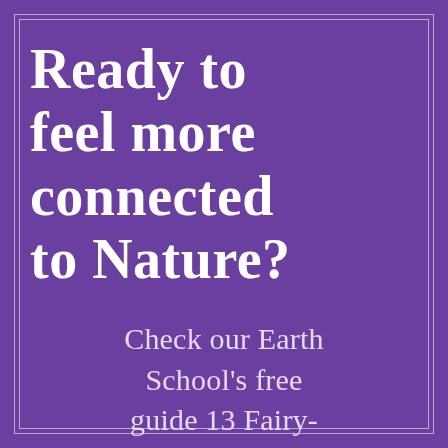Ready to feel more connected to Nature?
Check our Earth School's free guide 13 Fairy-Approved Simple Rituals for Home